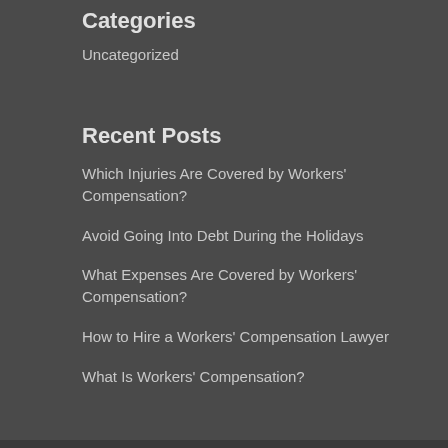Categories
Uncategorized
Recent Posts
Which Injuries Are Covered by Workers' Compensation?
Avoid Going Into Debt During the Holidays
What Expenses Are Covered by Workers' Compensation?
How to Hire a Workers' Compensation Lawyer
What Is Workers' Compensation?